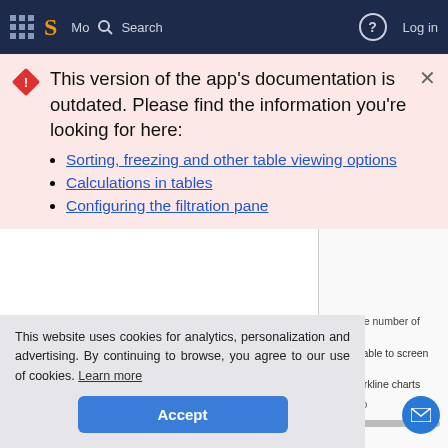Navigation bar with logo S, More, Search, Help, Log in
This version of the app's documentation is outdated. Please find the information you're looking for here:
Sorting, freezing and other table viewing options
Calculations in tables
Configuring the filtration pane
types is in the following:
If you use dynamic
Enter the number of table ro
Fit table to screen are
Sparkline charts
ct macro
the table. So
This website uses cookies for analytics, personalization and advertising. By continuing to browse, you agree to our use of cookies. Learn more
Accept